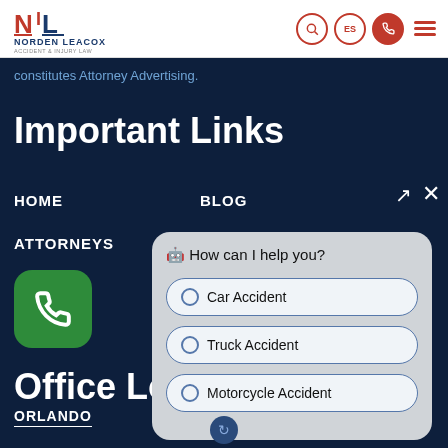[Figure (logo): Norden Leacox Accident & Injury Law logo with NL letters in red and blue]
constitutes Attorney Advertising.
Important Links
HOME
BLOG
ATTORNEYS
S & SETTLEMENTS
Office Locatio
ORLANDO
MELBOURNE
[Figure (screenshot): Chat widget popup asking 'How can I help you?' with options: Car Accident, Truck Accident, Motorcycle Accident]